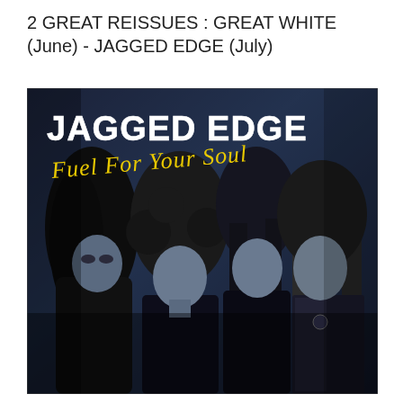2 GREAT REISSUES : GREAT WHITE (June) - JAGGED EDGE (July)
[Figure (photo): Album cover for Jagged Edge 'Fuel For Your Soul' - black and white/blue-tinted photo of four long-haired rock band members posing together, with 'JAGGED EDGE' in bold white text and 'Fuel For Your Soul' in yellow script below it.]